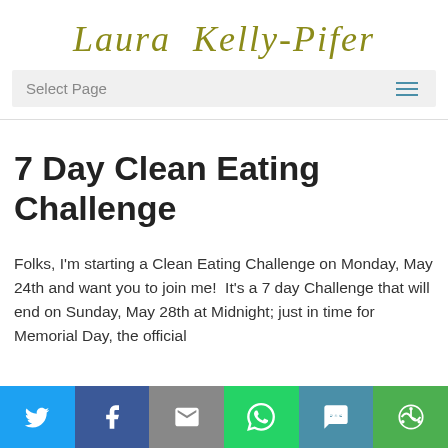Laura Kelly-Pifer
Select Page
7 Day Clean Eating Challenge
Folks, I'm starting a Clean Eating Challenge on Monday, May 24th and want you to join me!  It's a 7 day Challenge that will end on Sunday, May 28th at Midnight; just in time for Memorial Day, the official